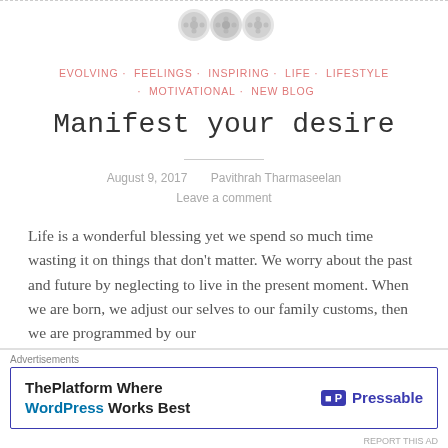[Figure (illustration): Three decorative circular button/smiley face icons aligned horizontally near top of page, above a dashed border line]
EVOLVING · FEELINGS · INSPIRING · LIFE · LIFESTYLE · MOTIVATIONAL · NEW BLOG
Manifest your desire
August 9, 2017    Pavithrah Tharmaseelan
Leave a comment
Life is a wonderful blessing yet we spend so much time wasting it on things that don't matter. We worry about the past and future by neglecting to live in the present moment. When we are born, we adjust our selves to our family customs, then we are programmed by our
Advertisements
ThePlatform Where WordPress Works Best   Pressable